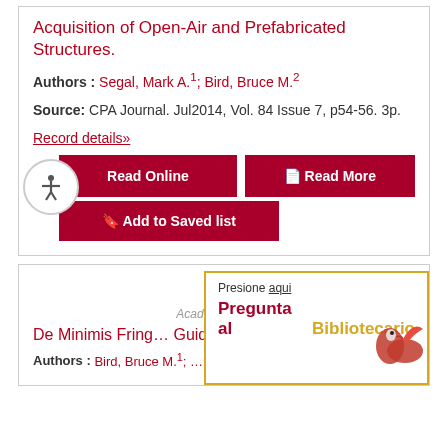Acquisition of Open-Air and Prefabricated Structures.
Authors : Segal, Mark A.¹; Bird, Bruce M.²
Source: CPA Journal. Jul2014, Vol. 84 Issue 7, p54-56. 3p.
Record details»
Read Online
Read More
Add to Saved list
[Figure (other): Bookmark icon]
Academic Journal
De Minimis Fring... Guide and Tax Im...
Authors : Bird, Bruce M.¹; ...
Presione aqui
Pregunta al Bibliotecario